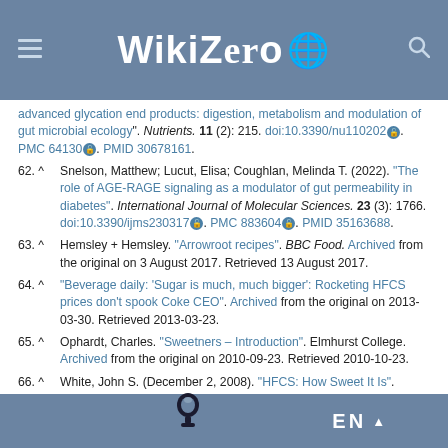WikiZero
advanced glycation end products: digestion, metabolism and modulation of gut microbial ecology". Nutrients. 11 (2): 215. doi:10.3390/nu1102021. PMC 64130. PMID 30678161.
62. ^ Snelson, Matthew; Lucut, Elisa; Coughlan, Melinda T. (2022). "The role of AGE-RAGE signaling as a modulator of gut permeability in diabetes". International Journal of Molecular Sciences. 23 (3): 1766. doi:10.3390/ijms2303176. PMC 883604. PMID 35163688.
63. ^ Hemsley + Hemsley. "Arrowroot recipes". BBC Food. Archived from the original on 3 August 2017. Retrieved 13 August 2017.
64. ^ "Beverage daily: 'Sugar is much, much bigger': Rocketing HFCS prices don’t spook Coke CEO". Archived from the original on 2013-03-30. Retrieved 2013-03-23.
65. ^ Ophardt, Charles. "Sweetners – Introduction". Elmhurst College. Archived from the original on 2010-09-23. Retrieved 2010-10-23.
66. ^ White, John S. (December 2, 2008). "HFCS: How Sweet It Is". Archived from the original on ...
EN